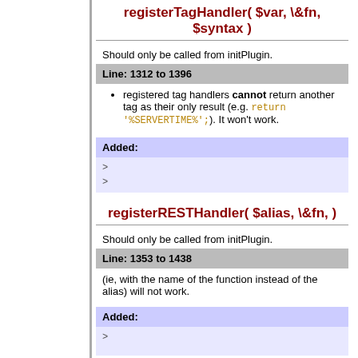registerTagHandler( $var, \&fn, $syntax )
Should only be called from initPlugin.
Line: 1312 to 1396
registered tag handlers cannot return another tag as their only result (e.g. return '%SERVERTIME%';). It won't work.
Added:
registerRESTHandler( $alias, \&fn, )
Should only be called from initPlugin.
Line: 1353 to 1438
(ie, with the name of the function instead of the alias) will not work.
Added: